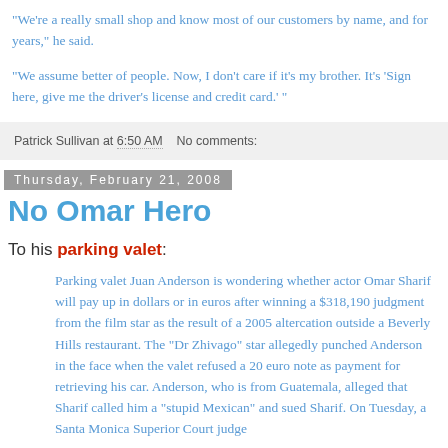“We’re a really small shop and know most of our customers by name, and for years,” he said.
“We assume better of people. Now, I don’t care if it’s my brother. It’s ‘Sign here, give me the driver’s license and credit card.’ ”
Patrick Sullivan at 6:50 AM    No comments:
Thursday, February 21, 2008
No Omar Hero
To his parking valet:
Parking valet Juan Anderson is wondering whether actor Omar Sharif will pay up in dollars or in euros after winning a $318,190 judgment from the film star as the result of a 2005 altercation outside a Beverly Hills restaurant. The "Dr Zhivago" star allegedly punched Anderson in the face when the valet refused a 20 euro note as payment for retrieving his car. Anderson, who is from Guatemala, alleged that Sharif called him a "stupid Mexican" and sued Sharif. On Tuesday, a Santa Monica Superior Court judge